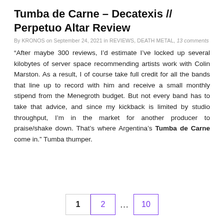Tumba de Carne – Decatexis // Perpetuo Altar Review
By KRONOS on September 24, 2021 in REVIEWS, DEATH METAL, 13 comments
“After maybe 300 reviews, I’d estimate I’ve locked up several kilobytes of server space recommending artists work with Colin Marston. As a result, I of course take full credit for all the bands that line up to record with him and receive a small monthly stipend from the Menegroth budget. But not every band has to take that advice, and since my kickback is limited by studio throughput, I’m in the market for another producer to praise/shake down. That’s where Argentina’s Tumba de Carne come in.” Tumba thumper.